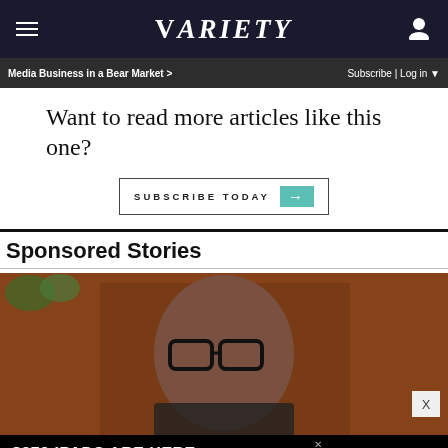Variety
Media Business in a Bear Market >  Subscribe | Log in
Want to read more articles like this one?
SUBSCRIBE TODAY →
Sponsored Stories
[Figure (photo): Photo of a man wearing thick-framed glasses, seated in front of a brick wall background]
[Figure (other): Advertisement banner: $279 IPADS ARE HERE LIMITED-TIME DEAL /SPY]